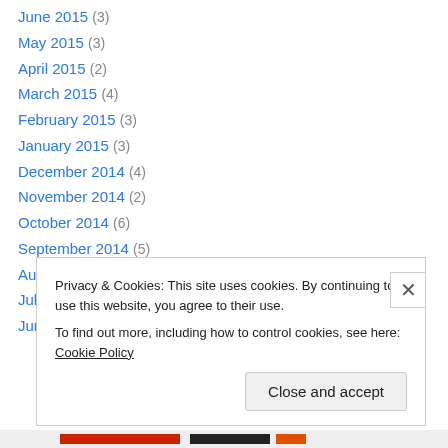June 2015 (3)
May 2015 (3)
April 2015 (2)
March 2015 (4)
February 2015 (3)
January 2015 (3)
December 2014 (4)
November 2014 (2)
October 2014 (6)
September 2014 (5)
August 2014 (3)
July 2014 (4)
June 2014 (2)
Privacy & Cookies: This site uses cookies. By continuing to use this website, you agree to their use. To find out more, including how to control cookies, see here: Cookie Policy